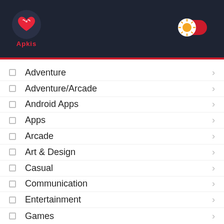Apkis
Adventure
Adventure/Arcade
Android Apps
Apps
Arcade
Art & Design
Casual
Communication
Entertainment
Games